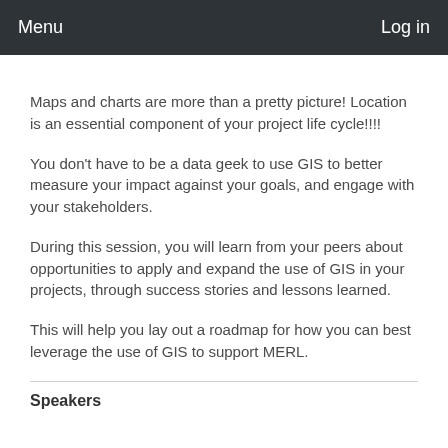Menu   Log in
Maps and charts are more than a pretty picture! Location is an essential component of your project life cycle!!!!
You don’t have to be a data geek to use GIS to better measure your impact against your goals, and engage with your stakeholders.
During this session, you will learn from your peers about opportunities to apply and expand the use of GIS in your projects, through success stories and lessons learned.
This will help you lay out a roadmap for how you can best leverage the use of GIS to support MERL.
Speakers